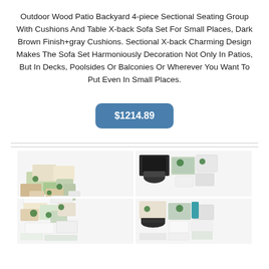Outdoor Wood Patio Backyard 4-piece Sectional Seating Group With Cushions And Table X-back Sofa Set For Small Places, Dark Brown Finish+gray Cushions. Sectional X-back Charming Design Makes The Sofa Set Harmoniously Decoration Not Only In Patios, But In Decks, Poolsides Or Balconies Or Wherever You Want To Put Even In Small Places.
$1214.89
[Figure (photo): Collage of various product boxes and packages arranged in a grid of four quadrants]